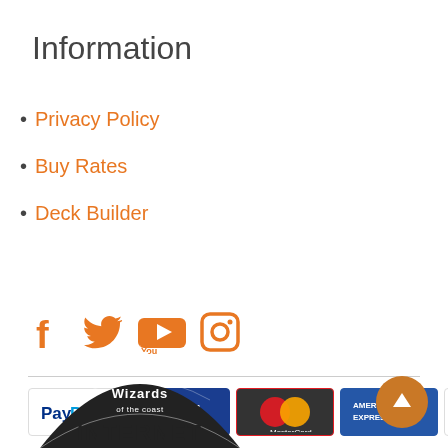Information
Privacy Policy
Buy Rates
Deck Builder
[Figure (infographic): Social media icons: Facebook, Twitter, YouTube, Instagram — all in orange]
[Figure (infographic): Payment method logos: PayPal, Visa, MasterCard, American Express, Discover]
[Figure (logo): Wizards of the Coast Internet logo at bottom left]
[Figure (other): Scroll-to-top button — orange circle with white up arrow]